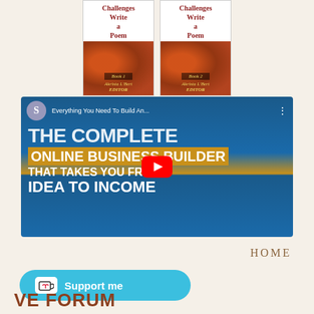[Figure (illustration): Two book covers titled with 'Challenges Write a Poem' Book 1 and Book 2, edited by Akrista L'Bert, with floral/sunflower background on the lower portion]
[Figure (screenshot): YouTube video thumbnail showing 'Everything You Need To Build An...' title in top bar. Main text reads 'THE COMPLETE ONLINE BUSINESS BUILDER THAT TAKES YOU FROM IDEA TO INCOME' with YouTube play button in center]
HOME
[Figure (illustration): Teal 'Support me' button with Ko-fi cup icon on the left]
VE FORUM